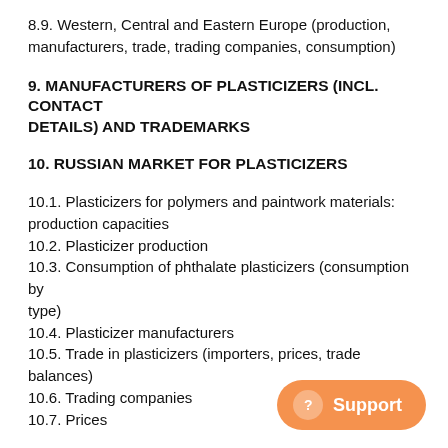8.9. Western, Central and Eastern Europe (production, manufacturers, trade, trading companies, consumption)
9. MANUFACTURERS OF PLASTICIZERS (INCL. CONTACT DETAILS) AND TRADEMARKS
10. RUSSIAN MARKET FOR PLASTICIZERS
10.1. Plasticizers for polymers and paintwork materials: production capacities
10.2. Plasticizer production
10.3. Consumption of phthalate plasticizers (consumption by type)
10.4. Plasticizer manufacturers
10.5. Trade in plasticizers (importers, prices, trade balances)
10.6. Trading companies
10.7. Prices